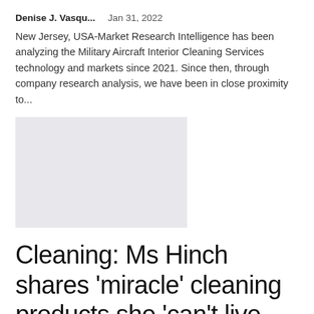Denise J. Vasqu...   Jan 31, 2022
New Jersey, USA-Market Research Intelligence has been analyzing the Military Aircraft Interior Cleaning Services technology and markets since 2021. Since then, through company research analysis, we have been in close proximity to...
[Figure (photo): Gray placeholder image rectangle]
Cleaning: Ms Hinch shares ‘miracle’ cleaning products she ‘can’t live...
Denise J. Vasqu...   Jan 31, 2022